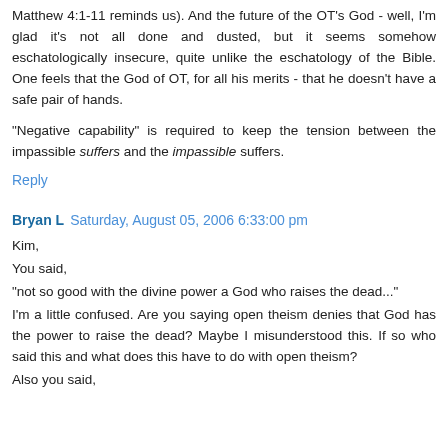Matthew 4:1-11 reminds us). And the future of the OT's God - well, I'm glad it's not all done and dusted, but it seems somehow eschatologically insecure, quite unlike the eschatology of the Bible. One feels that the God of OT, for all his merits - that he doesn't have a safe pair of hands.
"Negative capability" is required to keep the tension between the impassible suffers and the impassible suffers.
Reply
Bryan L  Saturday, August 05, 2006 6:33:00 pm
Kim,
You said,
"not so good with the divine power a God who raises the dead..."
I'm a little confused. Are you saying open theism denies that God has the power to raise the dead? Maybe I misunderstood this. If so who said this and what does this have to do with open theism?
Also you said,